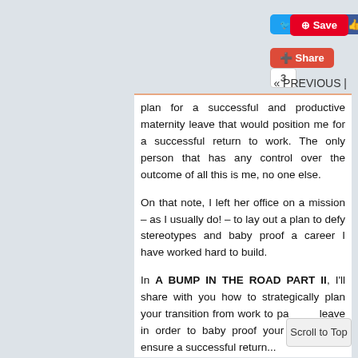[Figure (screenshot): Social media sharing buttons: Tweet, Like 12, Save (Pinterest), Share, 3]
« PREVIOUS |
plan for a successful and productive maternity leave that would position me for a successful return to work. The only person that has any control over the outcome of all this is me, no one else.

On that note, I left her office on a mission – as I usually do! – to lay out a plan to defy stereotypes and baby proof a career I have worked hard to build.

In A BUMP IN THE ROAD PART II, I'll share with you how to strategically plan your transition from work to parental leave in order to baby proof your career and ensure a successful return…
Scroll to Top